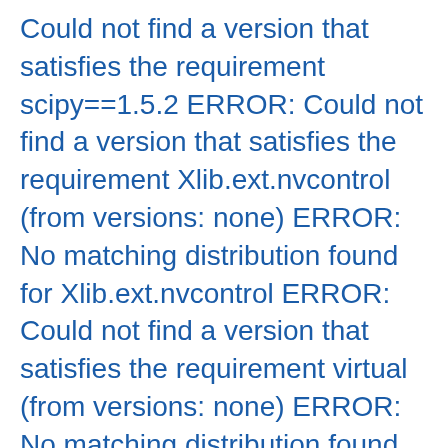Could not find a version that satisfies the requirement scipy==1.5.2 ERROR: Could not find a version that satisfies the requirement Xlib.ext.nvcontrol (from versions: none) ERROR: No matching distribution found for Xlib.ext.nvcontrol ERROR: Could not find a version that satisfies the requirement virtual (from versions: none) ERROR: No matching distribution found for virtual ERROR: Could not find a version that satisfies the requirement pandas ERROR: No matching distribution found for pandas could not find matching version of package cv2 ERROR: Could not find a version that satisfies the